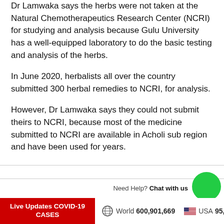Dr Lamwaka says the herbs were not taken at the Natural Chemotherapeutics Research Center (NCRI) for studying and analysis because Gulu University has a well-equipped laboratory to do the basic testing and analysis of the herbs.
In June 2020, herbalists all over the country submitted 300 herbal remedies to NCRI, for analysis.
However, Dr Lamwaka says they could not submit theirs to NCRI, because most of the medicine submitted to NCRI are available in Acholi sub region and have been used for years.
Live Updates COVID-19 CASES | World 600,901,669 | USA 95,...